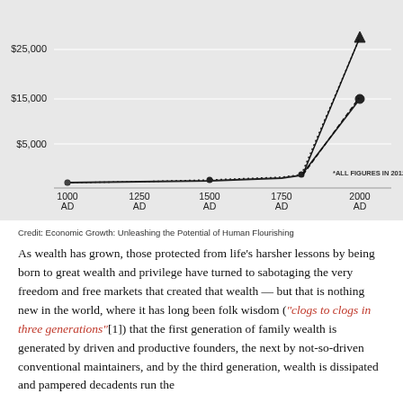[Figure (continuous-plot): Line chart showing GDP per capita from 1000 AD to 2000 AD. Y-axis labeled with $5,000, $15,000, $25,000. X-axis shows 1000 AD, 1250 AD, 1500 AD, 1750 AD, 2000 AD. Data shows flat growth until roughly 1800, then a dramatic hockey-stick rise. Two series shown: one reaching ~$27,000 (triangle marker) and one reaching ~$9,000 (circle marker) by 2000 AD. Note: *ALL FIGURES IN 2012 DOLLARS.]
Credit: Economic Growth: Unleashing the Potential of Human Flourishing
As wealth has grown, those protected from life's harsher lessons by being born to great wealth and privilege have turned to sabotaging the very freedom and free markets that created that wealth — but that is nothing new in the world, where it has long been folk wisdom ("clogs to clogs in three generations"[1]) that the first generation of family wealth is generated by driven and productive founders, the next by not-so-driven conventional maintainers, and by the third generation, wealth is dissipated and pampered decadents run the forth be...